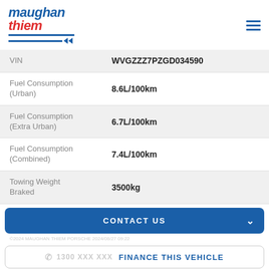[Figure (logo): Maughan Thiem logo with blue and red italic text and blue horizontal bars with chevron arrows]
| Field | Value |
| --- | --- |
| VIN | WVGZZZ7PZGD034590 |
| Fuel Consumption (Urban) | 8.6L/100km |
| Fuel Consumption (Extra Urban) | 6.7L/100km |
| Fuel Consumption (Combined) | 7.4L/100km |
| Towing Weight Braked | 3500kg |
CONTACT US
FINANCE THIS VEHICLE